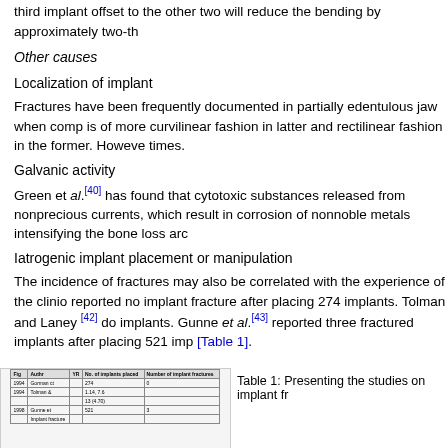third implant offset to the other two will reduce the bending by approximately two-th
Other causes
Localization of implant
Fractures have been frequently documented in partially edentulous jaw when comp is of more curvilinear fashion in latter and rectilinear fashion in the former. Howeve times.
Galvanic activity
Green et al.[40] has found that cytotoxic substances released from nonprecious currents, which result in corrosion of nonnoble metals intensifying the bone loss arc
Iatrogenic implant placement or manipulation
The incidence of fractures may also be correlated with the experience of the clinio reported no implant fracture after placing 274 implants. Tolman and Laney [42] do implants. Gunne et al.[43] reported three fractured implants after placing 521 imp [Table 1].
[Figure (table-as-image): Small preview of Table 1 showing studies on implant fractures]
Table 1: Presenting the studies on implant f